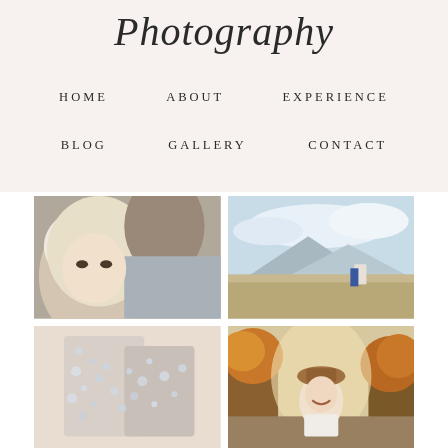Photography (script logo)
HOME
ABOUT
EXPERIENCE
BLOG
GALLERY
CONTACT
[Figure (photo): Close-up portrait of a couple — blonde woman looking down, man in grey suit jacket behind her]
[Figure (photo): Couple in a wide open field with mountains and dramatic sky in background]
[Figure (photo): Close-up of sparkly/bedazzled wedding shoes or dress detail]
[Figure (photo): Woman laughing outdoors in autumn foliage wearing a hat]